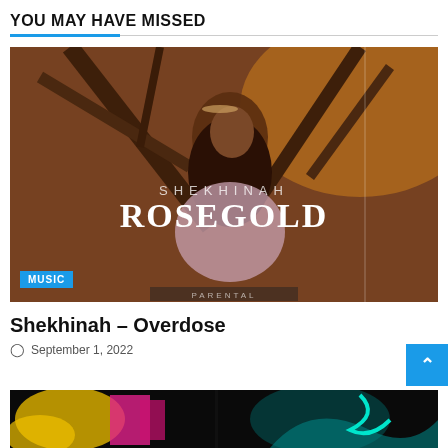YOU MAY HAVE MISSED
[Figure (photo): Album cover for Shekhinah Rosegold featuring a woman with long dark hair wearing a pink outfit standing among tree branches. White text reads SHEKHINAH ROSEGOLD. MUSIC badge in cyan/blue at bottom left.]
Shekhinah – Overdose
September 1, 2022
[Figure (photo): Partial view of a second album cover with colorful abstract art featuring yellow, pink and teal colors on dark background.]